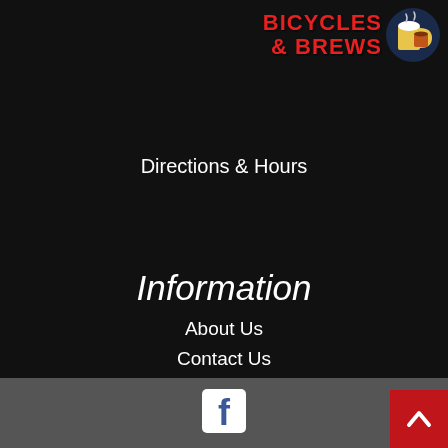[Figure (logo): Bicycles & Brews logo with red bold text and a circular beer mug icon on dark background]
Directions & Hours
Information
About Us
Contact Us
Careers
office@ride615.com
[Figure (logo): Facebook logo icon in white on dark square]
[Figure (other): Red back-to-top button with upward chevron arrow]